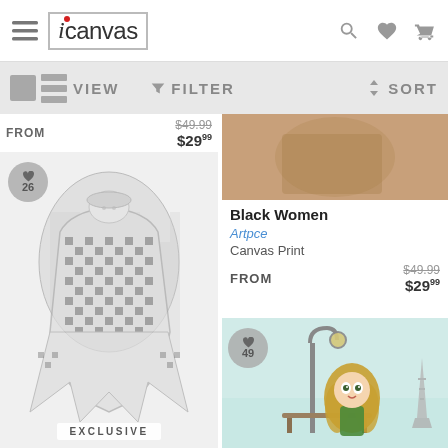[Figure (screenshot): iCanvas website header with hamburger menu icon, iCanvas logo, and search/heart/cart icons on right]
[Figure (screenshot): Toolbar with view toggle (grid/list), filter funnel icon, and sort arrows]
FROM $29.99 (was $49.99)
[Figure (illustration): Fashion illustration of a woman in a dramatic black and white houndstooth coat/dress, labeled EXCLUSIVE, with 26 hearts]
Black Women
Artpce
Canvas Print
FROM $49.99 was, $29.99 new
[Figure (illustration): Illustration of a whimsical girl with long wavy hair sitting on a bench by a Paris street lamp with Eiffel Tower in background, 49 hearts]